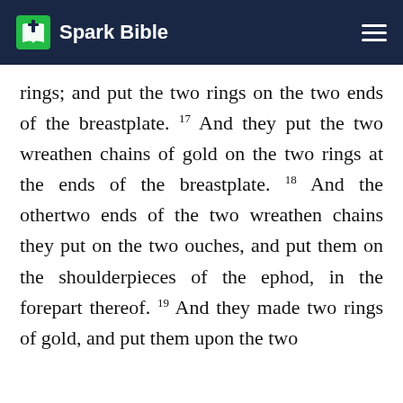Spark Bible
rings; and put the two rings on the two ends of the breastplate. 17 And they put the two wreathen chains of gold on the two rings at the ends of the breastplate. 18 And the othertwo ends of the two wreathen chains they put on the two ouches, and put them on the shoulderpieces of the ephod, in the forepart thereof. 19 And they made two rings of gold, and put them upon the two